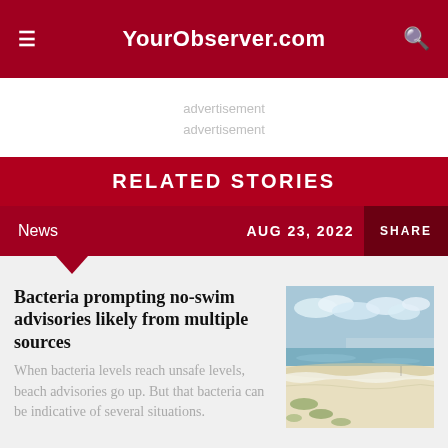YourObserver.com
advertisement
advertisement
RELATED STORIES
News   AUG 23, 2022   SHARE
Bacteria prompting no-swim advisories likely from multiple sources
[Figure (photo): A wide beach shoreline with white sand, gentle waves, and a cloudy sky in the background]
When bacteria levels reach unsafe levels, beach advisories go up. But that bacteria can be indicative of several situations.